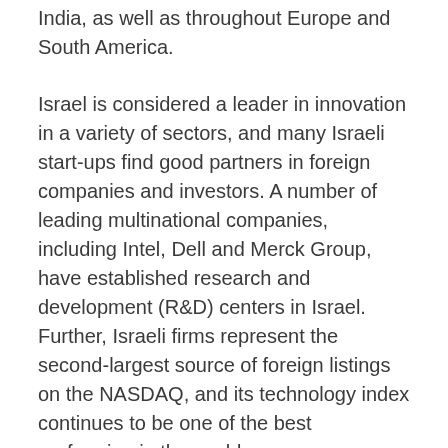India, as well as throughout Europe and South America.
Israel is considered a leader in innovation in a variety of sectors, and many Israeli start-ups find good partners in foreign companies and investors. A number of leading multinational companies, including Intel, Dell and Merck Group, have established research and development (R&D) centers in Israel. Further, Israeli firms represent the second-largest source of foreign listings on the NASDAQ, and its technology index continues to be one of the best performing in the world.
The Israeli government seeks to provide supportive conditions for companies looking to invest in Israel, through laws that encourage capital and industrial R&D investment, with U.S. firms accounting for nearly two-thirds of the foreign investment R&D development centers throughout the country. Incentives and benefits for foreign direct investors include